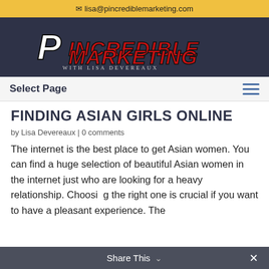✉ lisa@pincrediblemarketing.com
[Figure (logo): Pincredible Marketing with Lisa Devereaux logo — stylized red and white italic text on dark navy background]
Select Page
FINDING ASIAN GIRLS ONLINE
by Lisa Devereaux | 0 comments
The internet is the best place to get Asian women. You can find a huge selection of beautiful Asian women in the internet just who are looking for a heavy relationship. Choosing the right one is crucial if you want to have a pleasant experience. The
Share This